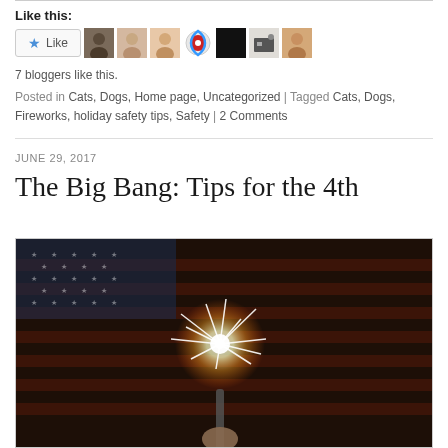Like this:
[Figure (other): Like button and 7 blogger avatars]
7 bloggers like this.
Posted in Cats, Dogs, Home page, Uncategorized | Tagged Cats, Dogs, Fireworks, holiday safety tips, Safety | 2 Comments
JUNE 29, 2017
The Big Bang: Tips for the 4th
[Figure (photo): Person holding a lit sparkler in front of an American flag at night]